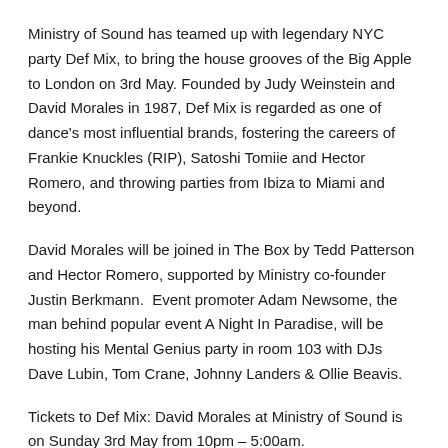Ministry of Sound has teamed up with legendary NYC party Def Mix, to bring the house grooves of the Big Apple to London on 3rd May. Founded by Judy Weinstein and David Morales in 1987, Def Mix is regarded as one of dance's most influential brands, fostering the careers of Frankie Knuckles (RIP), Satoshi Tomiie and Hector Romero, and throwing parties from Ibiza to Miami and beyond.
David Morales will be joined in The Box by Tedd Patterson and Hector Romero, supported by Ministry co-founder Justin Berkmann. Event promoter Adam Newsome, the man behind popular event A Night In Paradise, will be hosting his Mental Genius party in room 103 with DJs Dave Lubin, Tom Crane, Johnny Landers & Ollie Beavis.
Tickets to Def Mix: David Morales at Ministry of Sound is on Sunday 3rd May from 10pm – 5:00am.
Want to nab yourself and five mates a table at Def Mix this Sunday?